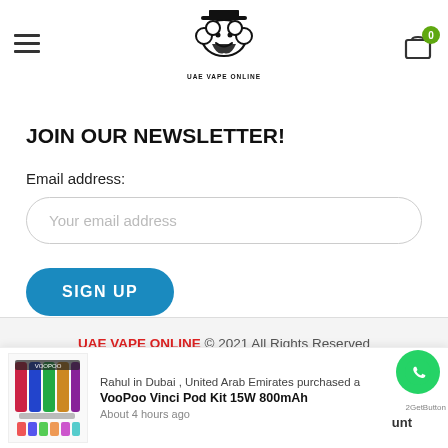[Figure (logo): UAE Vape Online logo — illustrated character with top hat and beard, text 'UAE VAPE ONLINE' below]
JOIN OUR NEWSLETTER!
Email address:
Your email address
SIGN UP
UAE VAPE ONLINE © 2021 All Rights Reserved
Designed By Digitally Web Design
Rahul in Dubai , United Arab Emirates purchased a VooPoo Vinci Pod Kit 15W 800mAh About 4 hours ago